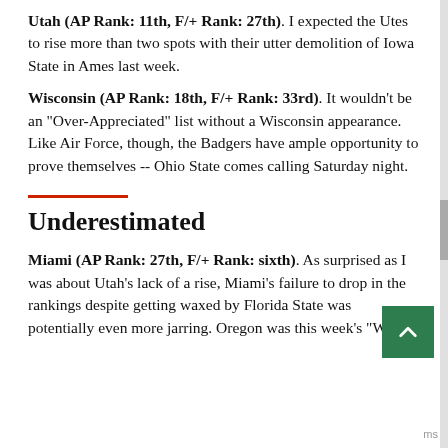Utah (AP Rank: 11th, F/+ Rank: 27th). I expected the Utes to rise more than two spots with their utter demolition of Iowa State in Ames last week.
Wisconsin (AP Rank: 18th, F/+ Rank: 33rd). It wouldn't be an "Over-Appreciated" list without a Wisconsin appearance. Like Air Force, though, the Badgers have ample opportunity to prove themselves -- Ohio State comes calling Saturday night.
Underestimated
Miami (AP Rank: 27th, F/+ Rank: sixth). As surprised as I was about Utah's lack of a rise, Miami's failure to drop in the rankings despite getting waxed by Florida State was potentially even more jarring. Oregon was this week's "What